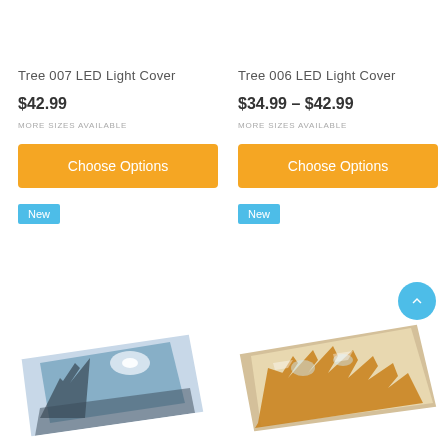Tree 007 LED Light Cover
$42.99
MORE SIZES AVAILABLE
Choose Options
New
Tree 006 LED Light Cover
$34.99 - $42.99
MORE SIZES AVAILABLE
Choose Options
New
[Figure (photo): LED light cover panel showing a tree scene with sunlight, angled perspective view]
[Figure (photo): LED light cover panel showing golden tree canopy viewed from below, angled perspective view]